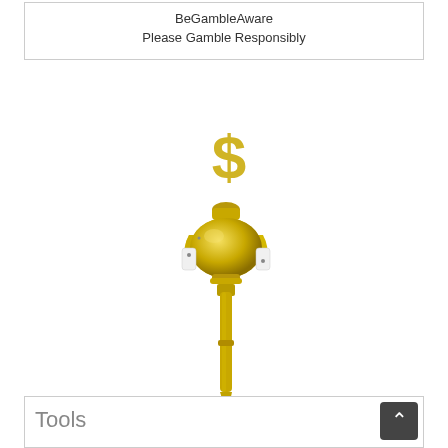BeGambleAware
Please Gamble Responsibly
[Figure (photo): A decorative golden pen or scepter topped with a gold dollar sign symbol, with a metallic cylindrical body and ornate mechanical fittings near the top, photographed on a white background.]
Tools